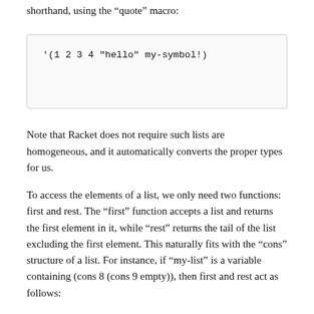shorthand, using the “quote” macro:
'(1 2 3 4 "hello" my-symbol!)
Note that Racket does not require such lists are homogeneous, and it automatically converts the proper types for us.
To access the elements of a list, we only need two functions: first and rest. The “first” function accepts a list and returns the first element in it, while “rest” returns the tail of the list excluding the first element. This naturally fits with the “cons” structure of a list. For instance, if “my-list” is a variable containing (cons 8 (cons 9 empty)), then first and rest act as follows:
> (first my-list)
8